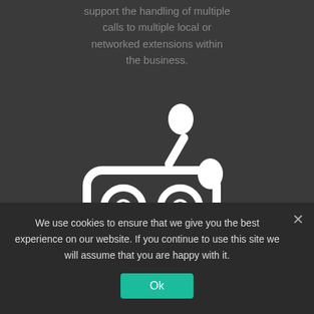support the handling of multiple calls to multiple local or networked extensions within the business.
[Figure (illustration): White voicemail / answering machine icon on dark background, showing a cassette-tape style device with two circular reels and a telephone handset receiver on top-right]
Unified Messaging
Samsung voicemail now offers the complete integration with
We use cookies to ensure that we give you the best experience on our website. If you continue to use this site we will assume that you are happy with it.
Ok